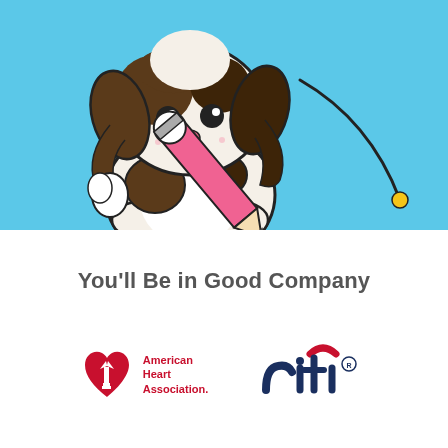[Figure (illustration): Cartoon dog (Shih Tzu style) holding a large pink pencil with a black curved line and yellow dot, on a light blue background]
You'll Be in Good Company
[Figure (logo): American Heart Association logo - red heart with torch flame and text 'American Heart Association.']
[Figure (logo): Citi bank logo - lowercase 'citi' in dark navy blue with red arc above the letter i, and registered trademark symbol]